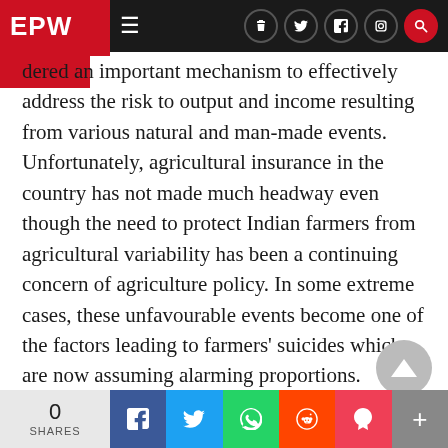EPW
dered an important mechanism to effectively address the risk to output and income resulting from various natural and man-made events. Unfortunately, agricultural insurance in the country has not made much headway even though the need to protect Indian farmers from agricultural variability has been a continuing concern of agriculture policy. In some extreme cases, these unfavourable events become one of the factors leading to farmers' suicides which are now assuming alarming proportions.
This article discusses the genesis of agricultural insurance in India, examines various agricultu...